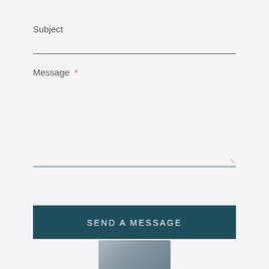Subject
Message *
SEND A MESSAGE
[Figure (photo): Partial view of an image or photo visible at the bottom of the page]